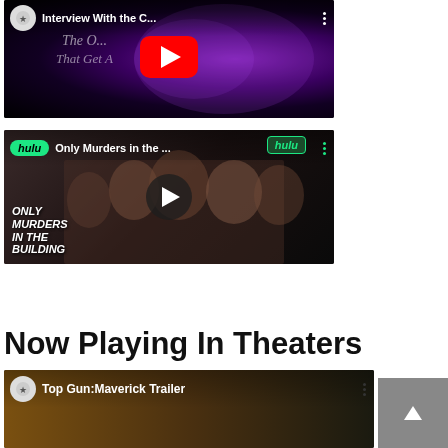[Figure (screenshot): YouTube video thumbnail for 'Interview With the C...' showing purple heart-shaped neon lights on dark background with red YouTube play button]
[Figure (screenshot): Hulu video thumbnail for 'Only Murders in the ...' showing cast photo with 'ONLY MURDERS IN THE BUILDING' text overlay and Hulu branding]
Now Playing In Theaters
[Figure (screenshot): YouTube video thumbnail for 'Top Gun: Maverick Trailer' showing partial thumbnail with dark golden/brown tones]